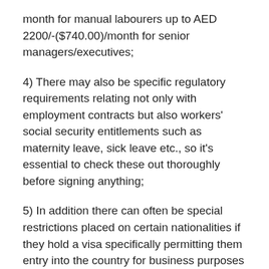month for manual labourers up to AED 2200/-($740.00)/month for senior managers/executives;
4) There may also be specific regulatory requirements relating not only with employment contracts but also workers' social security entitlements such as maternity leave, sick leave etc., so it's essential to check these out thoroughly before signing anything;
5) In addition there can often be special restrictions placed on certain nationalities if they hold a visa specifically permitting them entry into the country for business purposes – please consult an immigration lawyer if unsure about whether this applies to you